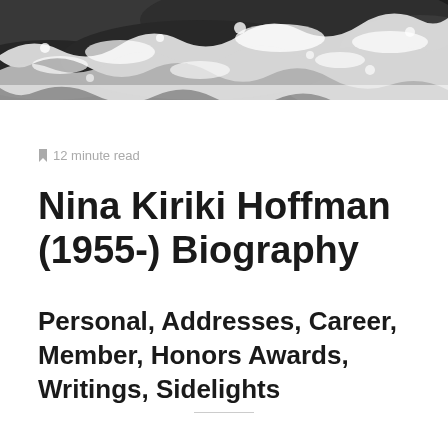[Figure (photo): Aerial or close-up photograph of ocean waves crashing, dark rocky water with white sea foam, black and white tones]
12 minute read
Nina Kiriki Hoffman (1955-) Biography
Personal, Addresses, Career, Member, Honors Awards, Writings, Sidelights